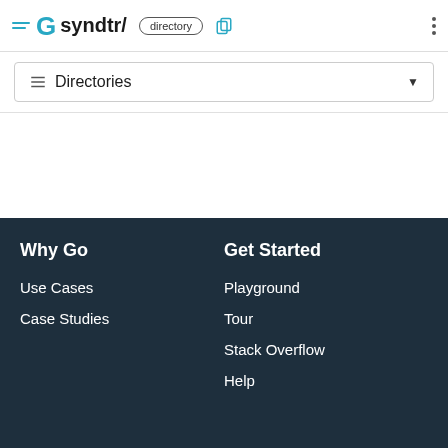Go syndtr/ directory
≡ Directories
Why Go
Use Cases
Case Studies
Get Started
Playground
Tour
Stack Overflow
Help